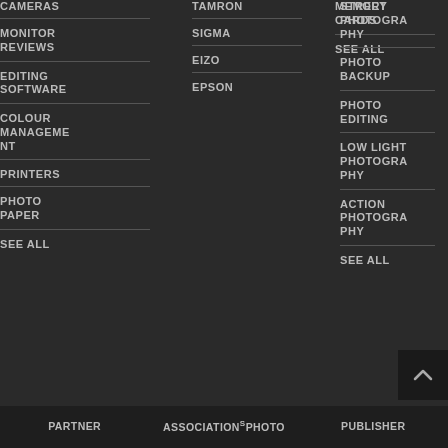CAMERAS
MONITOR REVIEWS
EDITING SOFTWARE
COLOUR MANAGEMENT
PRINTERS
PHOTO PAPER
SEE ALL
TAMRON
SIGMA
EIZO
EPSON
MEMORY CARDS
SEE ALL
STREET PHOTOGRAPHY
PHOTO BACKUP
PHOTO EDITING
LOW LIGHT PHOTOGRAPHY
ACTION PHOTOGRAPHY
SEE ALL
PARTNER   ASSOCIATIONS   PHOTO   PUBLISHER